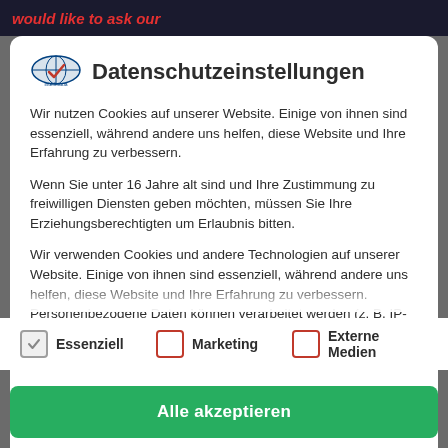would like to ask our
Datenschutzeinstellungen
Wir nutzen Cookies auf unserer Website. Einige von ihnen sind essenziell, während andere uns helfen, diese Website und Ihre Erfahrung zu verbessern.
Wenn Sie unter 16 Jahre alt sind und Ihre Zustimmung zu freiwilligen Diensten geben möchten, müssen Sie Ihre Erziehungsberechtigten um Erlaubnis bitten.
Wir verwenden Cookies und andere Technologien auf unserer Website. Einige von ihnen sind essenziell, während andere uns helfen, diese Website und Ihre Erfahrung zu verbessern. Personenbezogene Daten können verarbeitet werden (z. B. IP-Adressen), z. B. für personalisierte Anzeigen und Inhalte oder
Essenziell
Marketing
Externe Medien
Alle akzeptieren